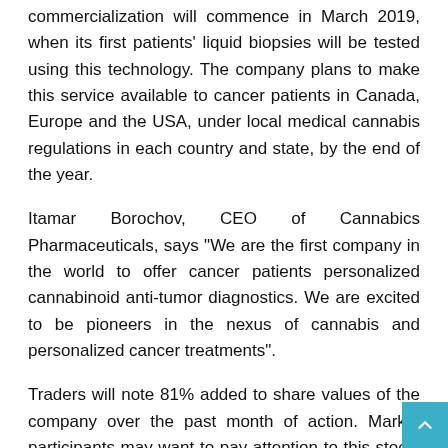commercialization will commence in March 2019, when its first patients' liquid biopsies will be tested using this technology. The company plans to make this service available to cancer patients in Canada, Europe and the USA, under local medical cannabis regulations in each country and state, by the end of the year.
Itamar Borochov, CEO of Cannabics Pharmaceuticals, says "We are the first company in the world to offer cancer patients personalized cannabinoid anti-tumor diagnostics. We are excited to be pioneers in the nexus of cannabis and personalized cancer treatments".
Traders will note 81% added to share values of the company over the past month of action. Market participants may want to pay attention to this stock. CNBX has a track record that includes a number of dramatic bounces. Moreover, the listing has seen an influx in interest of late, with the stock's recent